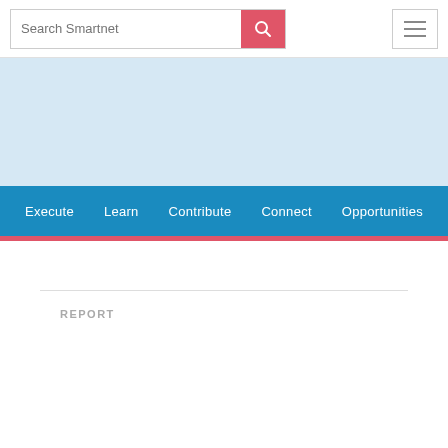[Figure (screenshot): Search bar with placeholder text 'Search Smartnet', a red search button with magnifying glass icon, and a hamburger menu button on the right]
[Figure (other): Light blue banner area]
Execute   Learn   Contribute   Connect   Opportunities
Home
REPORT
Tweet